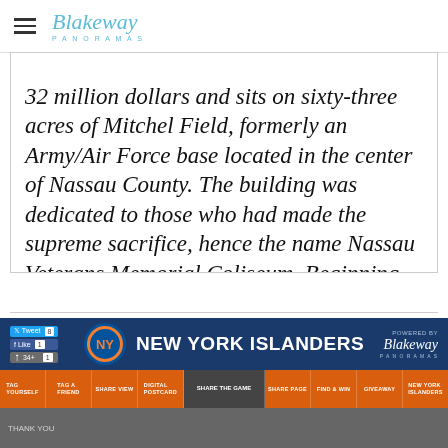Blakeway PANORAMAS
32 million dollars and sits on sixty-three acres of Mitchel Field, formerly an Army/Air Force base located in the center of Nassau County. The building was dedicated to those who had made the supreme sacrifice, hence the name Nassau Veterans Memorial Coliseum. Beginning the 2015-16 season, the Islanders will move to their new home in Brooklyn.
[Figure (screenshot): New York Islanders branded footer banner with social share buttons, Islanders logo and title, Blakeway Panoramas powered-by logo, orange navigation bar with Tag Yourself, Tag a Friend, Share View, Digital Postcard, Share the Game, Share Page, Find & Win, Giveaway, New York Islanders labels, and a partial photo strip below.]